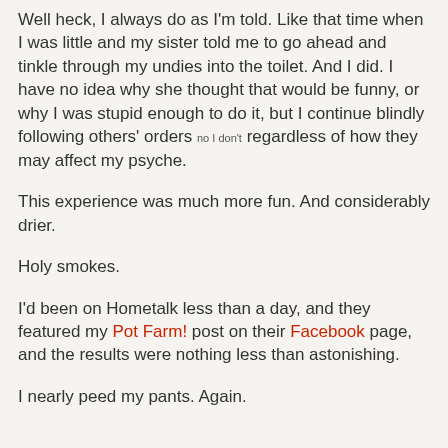Well heck, I always do as I'm told.  Like that time when I was little and my sister told me to go ahead and tinkle through my undies into the toilet.  And I did.  I have no idea why she thought that would be funny, or why I was stupid enough to do it, but I continue blindly following others' orders no I don't regardless of how they may affect my psyche.
This experience was much more fun.  And considerably drier.
Holy smokes.
I'd been on Hometalk less than a day, and they featured my Pot Farm! post on their Facebook page, and the results were nothing less than astonishing.
I nearly peed my pants.  Again.